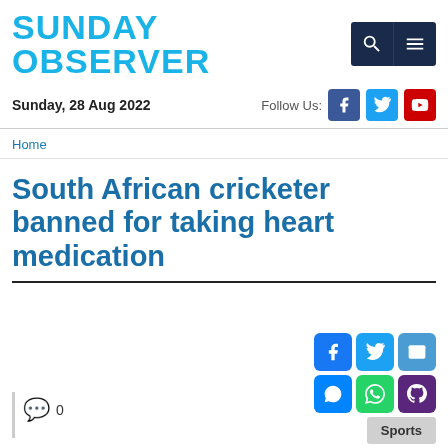SUNDAY OBSERVER
Sunday, 28 Aug 2022
Follow Us:
Home
South African cricketer banned for taking heart medication
0